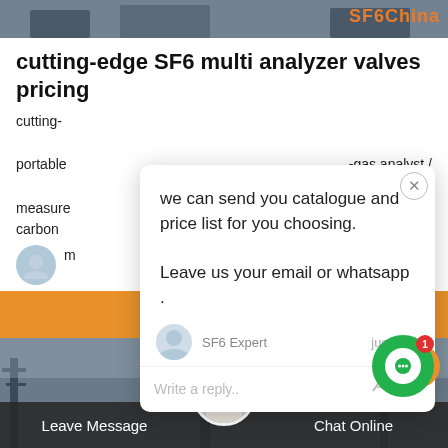[Figure (screenshot): Top banner image with dark industrial/electrical scene and SF6China logo in orange]
cutting-edge SF6 multi analyzer valves pricing
cutting-... -gas analyst / portable... ltaneously measure... dioxide, and carbon... ctors, and ...m... design allows for virtually any combination of gas senso... making
[Figure (screenshot): Chat popup overlay with message: we can send you catalogue and price list for you choosing. Leave us your email or whatsapp. SF6 Expert just now. Write a reply.. with thumbs up and paperclip icons. Close X button top right.]
Get Price
[Figure (screenshot): Bottom section with dark industrial photo showing electrical towers, a customer service agent avatar in center, Leave Message on left, Chat Online on right, scroll-to-top orange button]